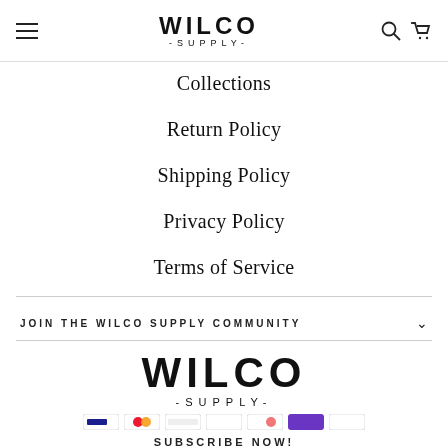[Figure (logo): Wilco Supply logo in header with hamburger menu, search and cart icons]
Collections
Return Policy
Shipping Policy
Privacy Policy
Terms of Service
JOIN THE WILCO SUPPLY COMMUNITY
[Figure (logo): Wilco Supply logo large in footer]
[Figure (other): Row of payment method icons (Visa, Mastercard, Amex, etc.)]
SUBSCRIBE NOW!